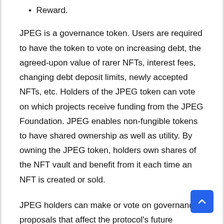Reward.
JPEG is a governance token. Users are required to have the token to vote on increasing debt, the agreed-upon value of rarer NFTs, interest fees, changing debt deposit limits, newly accepted NFTs, etc. Holders of the JPEG token can vote on which projects receive funding from the JPEG Foundation. JPEG enables non-fungible tokens to have shared ownership as well as utility. By owning the JPEG token, holders own shares of the NFT vault and benefit from it each time an NFT is created or sold.
JPEG holders can make or vote on governance proposals that affect the protocol's future direction, including changes to debt limitations